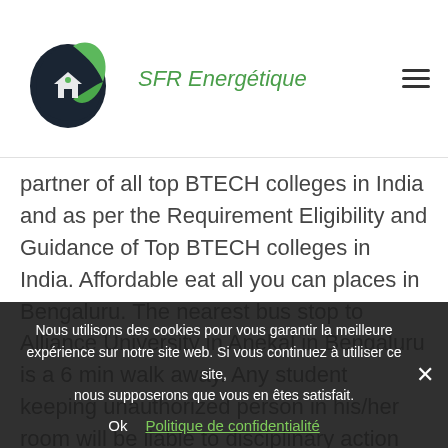SFR Energétique
partner of all top BTECH colleges in India and as per the Requirement Eligibility and Guidance of Top BTECH colleges in India. Affordable eat all you can places in Bengaluru. The nearest bus stop to Alliance University in Anekal in Bengaluru is a 6 min walk away. Any student keeping unauthorized person in his/her room will be liable to disciplinary action amounting to expulsion from the hostel. Alliance University admission processes and eligibility criteria are respect
Nous utilisons des cookies pour vous garantir la meilleure expérience sur notre site web. Si vous continuez à utiliser ce site, nous supposerons que vous en êtes satisfait. Ok  Politique de confidentialité